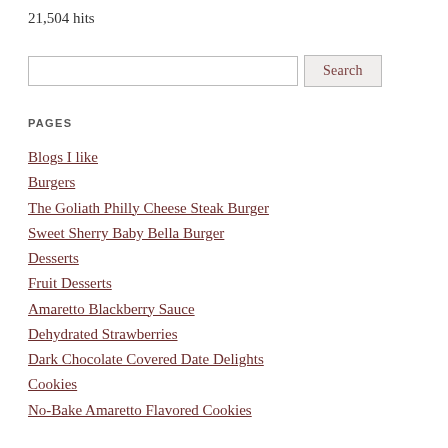21,504 hits
Search
PAGES
Blogs I like
Burgers
The Goliath Philly Cheese Steak Burger
Sweet Sherry Baby Bella Burger
Desserts
Fruit Desserts
Amaretto Blackberry Sauce
Dehydrated Strawberries
Dark Chocolate Covered Date Delights
Cookies
No-Bake Amaretto Flavored Cookies